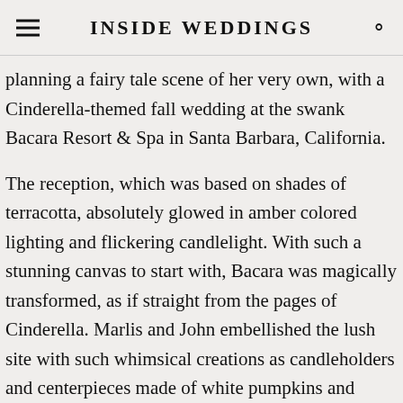INSIDE WEDDINGS
planning a fairy tale scene of her very own, with a Cinderella-themed fall wedding at the swank Bacara Resort & Spa in Santa Barbara, California.
The reception, which was based on shades of terracotta, absolutely glowed in amber colored lighting and flickering candlelight. With such a stunning canvas to start with, Bacara was magically transformed, as if straight from the pages of Cinderella. Marlis and John embellished the lush site with such whimsical creations as candleholders and centerpieces made of white pumpkins and filled with tawny fall colors. In fact, white pumpkins were everywhere, thanks to several of the bride's very close